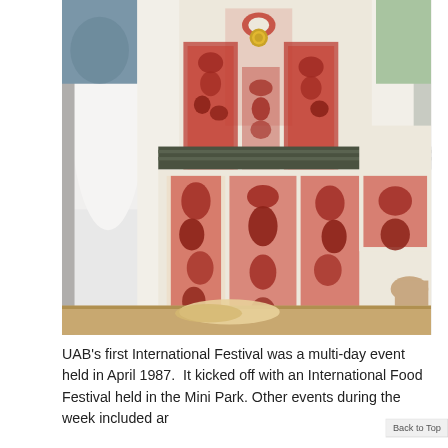[Figure (photo): Close-up photo of a person wearing a traditional Eastern European (likely Ukrainian) embroidered white garment with red floral and bird motifs, with a decorative belt. A wooden surface with food is visible at the bottom.]
UAB's first International Festival was a multi-day event held in April 1987.  It kicked off with an International Food Festival held in the Mini Park. Other events during the week included ar